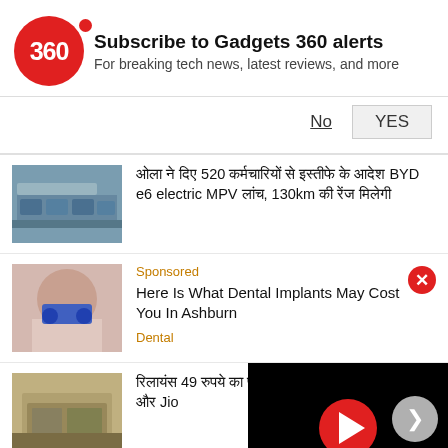[Figure (logo): Gadgets 360 red circular logo with '360' text]
Subscribe to Gadgets 360 alerts
For breaking tech news, latest reviews, and more
No
YES
[Figure (photo): Row of blue electric cars lined up outdoors]
ओला ने दिए 520 कर्मचारियों से इस्तीफे के आदेश BYD e6 electric MPV लांच, 130km की रेंज मिलेगी
Sponsored
[Figure (photo): Woman smiling with blue gloves near her mouth - dental implants ad]
Here Is What Dental Implants May Cost You In Ashburn
Dental
[Figure (photo): Building exterior - Jio/Airtel news item]
रिलायंस 49 रुपये का प्लान, जियो ब्रॉडबैंड सर्विस, Airtel और Jio
[Figure (screenshot): Black video player overlay with red play button]
More Technology News in Hindi »